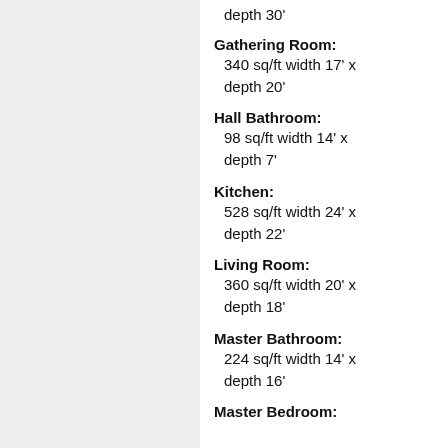depth 30'
Gathering Room: 340 sq/ft width 17' x depth 20'
Hall Bathroom: 98 sq/ft width 14' x depth 7'
Kitchen: 528 sq/ft width 24' x depth 22'
Living Room: 360 sq/ft width 20' x depth 18'
Master Bathroom: 224 sq/ft width 14' x depth 16'
Master Bedroom: